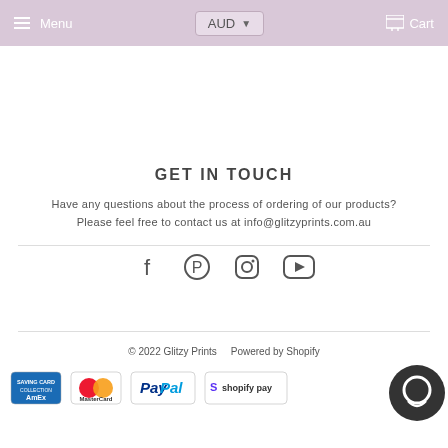Menu  AUD  Cart
GET IN TOUCH
Have any questions about the process of ordering of our products? Please feel free to contact us at info@glitzyprints.com.au
[Figure (infographic): Social media icons: Facebook, Pinterest, Instagram, YouTube]
© 2022 Glitzy Prints    Powered by Shopify
[Figure (infographic): Payment method logos: American Express, MasterCard, PayPal, Shopify Pay, Visa]